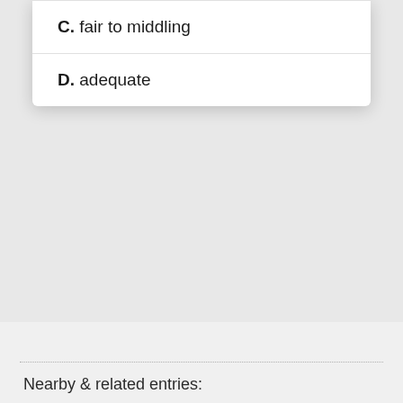C. fair to middling
D. adequate
Nearby & related entries: